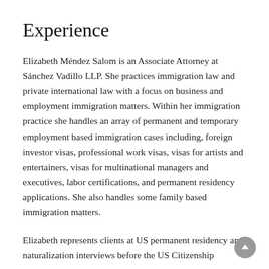Experience
Elizabeth Méndez Salom is an Associate Attorney at Sánchez Vadillo LLP. She practices immigration law and private international law with a focus on business and employment immigration matters. Within her immigration practice she handles an array of permanent and temporary employment based immigration cases including, foreign investor visas, professional work visas, visas for artists and entertainers, visas for multinational managers and executives, labor certifications, and permanent residency applications. She also handles some family based immigration matters.
Elizabeth represents clients at US permanent residency and naturalization interviews before the US Citizenship